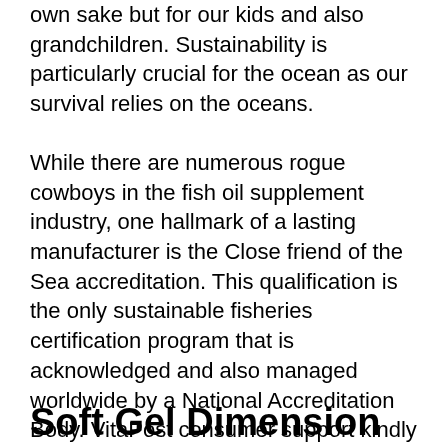own sake but for our kids and also grandchildren. Sustainability is particularly crucial for the ocean as our survival relies on the oceans.
While there are numerous rogue cowboys in the fish oil supplement industry, one hallmark of a lasting manufacturer is the Close friend of the Sea accreditation. This qualification is the only sustainable fisheries certification program that is acknowledged and also managed worldwide by a National Accreditation Body. VitaPost consumer support kindly offered the Friend of the Sea certification (RINA, No. FOS92/18) for the fishing partner that supplies Krill Oil Plus.
Soft Gel Dimension